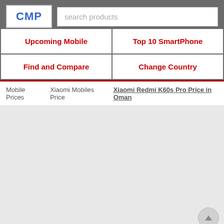CMP
search products
Upcoming Mobile
Top 10 SmartPhone
Find and Compare
Change Country
Mobile Prices  Xiaomi Mobiles Price  Xiaomi Redmi K60s Pro Price in Oman